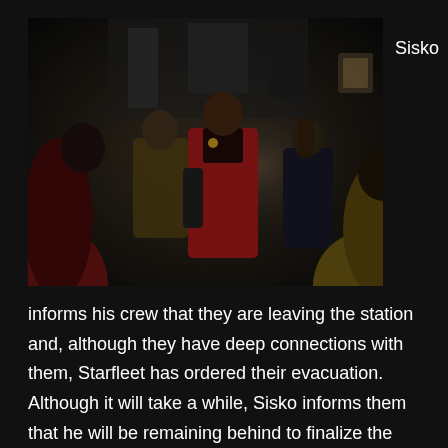[Figure (photo): A dark scene from Star Trek: Deep Space Nine showing Sisko in a red command uniform speaking to crew members in yellow and black uniforms on the station.]
Sisko
informs his crew that they are leaving the station and, although they have deep connections with them, Starfleet has ordered their evacuation. Although it will take a while, Sisko informs them that he will be remaining behind to finalize the